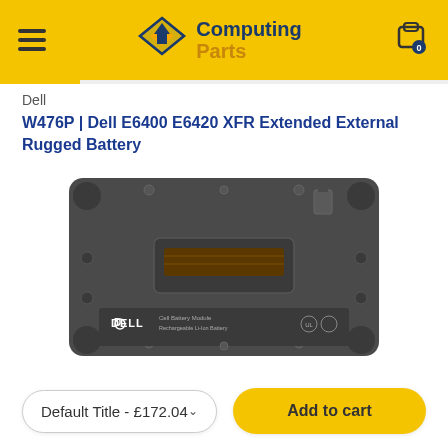[Figure (logo): Computing Parts logo with yellow diamond house icon and blue/yellow text on yellow header bar]
Dell
W476P | Dell E6400 E6420 XFR Extended External Rugged Battery
[Figure (photo): Bottom view of a Dell laptop battery module (W476P), dark grey, showing connector port and Dell Battery Module label]
Default Title - £172.04
Add to cart